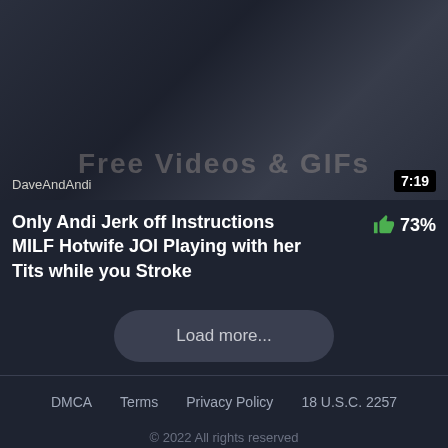[Figure (screenshot): Video thumbnail with dark overlay, channel name DaveAndAndi at bottom left, duration badge 7:19 at bottom right]
DaveAndAndi
7:19
Only Andi Jerk off Instructions MILF Hotwife JOI Playing with her Tits while you Stroke
73%
Load more...
DMCA   Terms   Privacy Policy   18 U.S.C. 2257
© 2022 All rights reserved